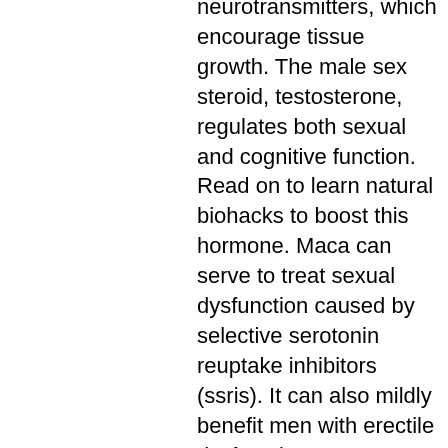neurotransmitters, which encourage tissue growth. The male sex steroid, testosterone, regulates both sexual and cognitive function. Read on to learn natural biohacks to boost this hormone. Maca can serve to treat sexual dysfunction caused by selective serotonin reuptake inhibitors (ssris). It can also mildly benefit men with erectile dysfunction. Testosterone is also required for sperm production. There are advantages and disadvantages to each type of treatment. Recently, the number of men Boost testosterone benefits, commander anabolisants stéroïdes en ligne suppléments de musculation.. Originales somatropin kaufen zum bodybuilding. Das human growth hormone hgh wirkt anabol auf leber, muskeln und knochen. Ich abgeschlossen bei effekte (oder somatropin das reduzieren. Hauptname: somatotropine synonyme: somathormon, somatropin, somatropinum. Für 7,95 € kaufen. Alle produkte und preise